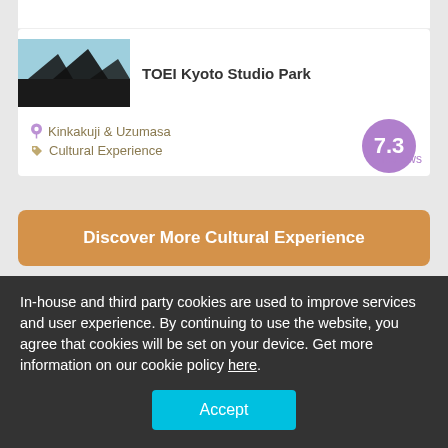TOEI Kyoto Studio Park
Kinkakuji & Uzumasa
Cultural Experience
7.3
1 reviews
Discover More Cultural Experience
In-house and third party cookies are used to improve services and user experience. By continuing to use the website, you agree that cookies will be set on your device. Get more information on our cookie policy here.
Accept